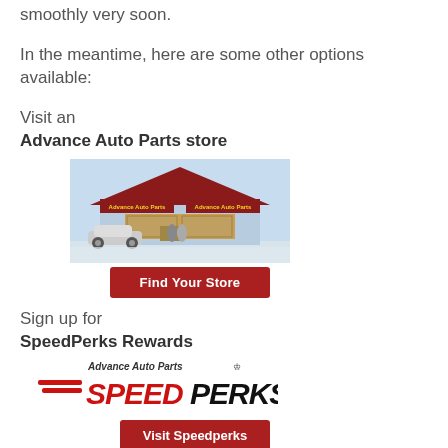smoothly very soon.
In the meantime, here are some other options available:
Visit an
Advance Auto Parts store
[Figure (illustration): Advance Auto Parts store exterior illustration with red roof, blue sign, and parking lot]
[Figure (other): Find Your Store red button]
Sign up for
SpeedPerks Rewards
[Figure (logo): Advance Auto Parts SpeedPerks logo with red speed lines and italic bold text]
[Figure (other): Visit Speedperks red button]
View us on Social Media
Facebook/Twitter/Blog
[Figure (other): Social media blue button (partially visible)]